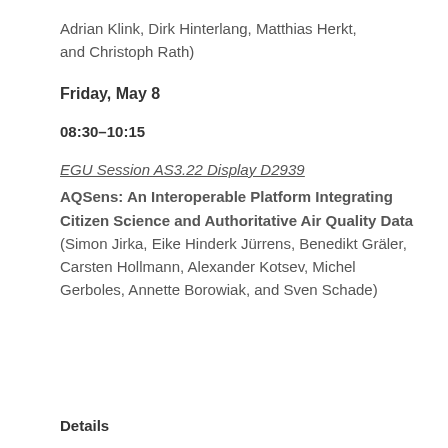Adrian Klink, Dirk Hinterlang, Matthias Herkt, and Christoph Rath)
Friday, May 8
08:30–10:15
EGU Session AS3.22 Display D2939
AQSens: An Interoperable Platform Integrating Citizen Science and Authoritative Air Quality Data (Simon Jirka, Eike Hinderk Jürrens, Benedikt Gräler, Carsten Hollmann, Alexander Kotsev, Michel Gerboles, Annette Borowiak, and Sven Schade)
Details